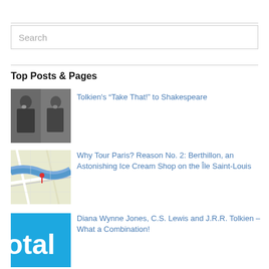Search
Top Posts & Pages
[Figure (photo): Black and white photo of two men — Tolkien and Shakespeare side by side]
Tolkien's “Take That!” to Shakespeare
[Figure (map): Map thumbnail showing Paris streets and the Seine river area]
Why Tour Paris? Reason No. 2: Berthillon, an Astonishing Ice Cream Shop on the Île Saint-Louis
[Figure (logo): Blue background with white bold text 'otal' (partial logo)]
Diana Wynne Jones, C.S. Lewis and J.R.R. Tolkien – What a Combination!